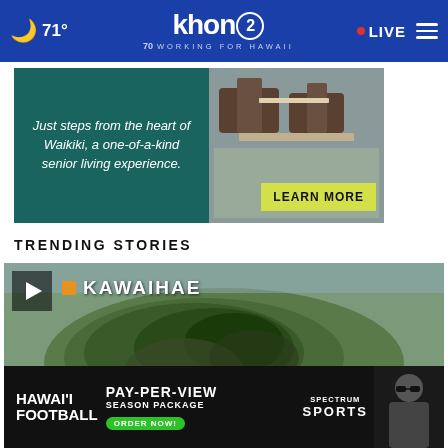khon2 — WORKING FOR HAWAII | 71° | LIVE
[Figure (photo): Advertisement banner: 'Just steps from the heart of Waikiki, a one-of-a-kind senior living experience. LEARN MORE' with image of outdoor furniture/patio]
TRENDING STORIES
[Figure (screenshot): Video thumbnail showing aerial/map view with KAWAIHAE and PUALANI ESTATES location labels with orange squares, play button in top-left, close (X) button]
[Figure (photo): Bottom advertisement: HAWAI'I FOOTBALL — PAY-PER-VIEW SEASON PACKAGE — ORDER NOW! — SPECTRUM SPORTS with coach photo]